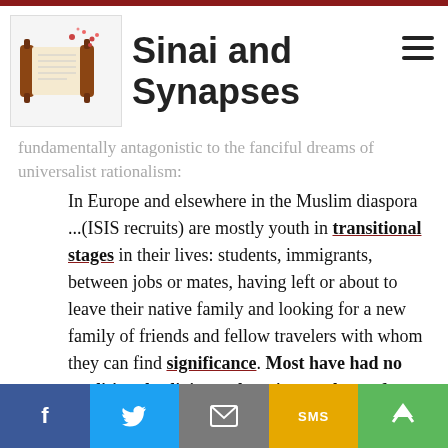Sinai and Synapses
fundamentally antagonistic to the fanciful dreams of universalist rationalism:
In Europe and elsewhere in the Muslim diaspora ...(ISIS recruits) are mostly youth in transitional stages in their lives: students, immigrants, between jobs or mates, having left or about to leave their native family and looking for a new family of friends and fellow travelers with whom they can find significance. Most have had no traditional religious education, and are often “born again” into a socially tight, ideologically narrow, but world-spanning sense of religious
f   [Twitter]   [Mail]   SMS   [Share]